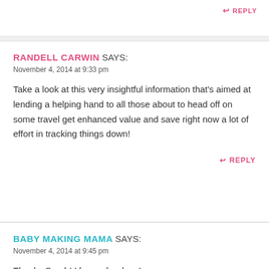REPLY
RANDELL CARWIN SAYS:
November 4, 2014 at 9:33 pm
Take a look at this very insightful information that's aimed at lending a helping hand to all those about to head off on some travel get enhanced value and save right now a lot of effort in tracking things down!
REPLY
BABY MAKING MAMA SAYS:
November 4, 2014 at 9:45 pm
Thanks Sarah! I hope she does!